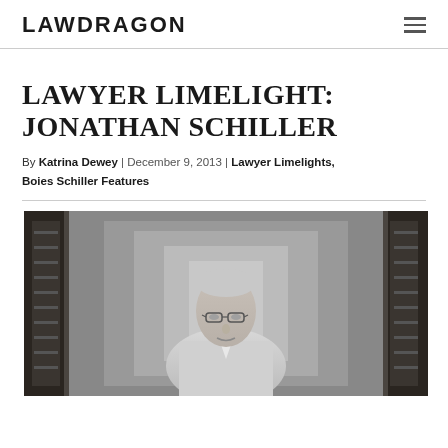LAWDRAGON
LAWYER LIMELIGHT: JONATHAN SCHILLER
By Katrina Dewey | December 9, 2013 | Lawyer Limelights, Boies Schiller Features
[Figure (photo): Black and white photograph of Jonathan Schiller, an older man in a white jacket and glasses, standing in a corridor with shelving/lockers in the background.]